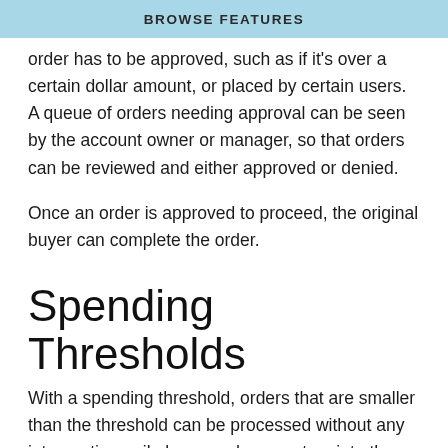BROWSE FEATURES
order has to be approved, such as if it's over a certain dollar amount, or placed by certain users. A queue of orders needing approval can be seen by the account owner or manager, so that orders can be reviewed and either approved or denied.
Once an order is approved to proceed, the original buyer can complete the order.
Spending Thresholds
With a spending threshold, orders that are smaller than the threshold can be processed without any interventio n ile larger orders must go into the queue for approval. T in remove obstacles for smaller orders that may not need the